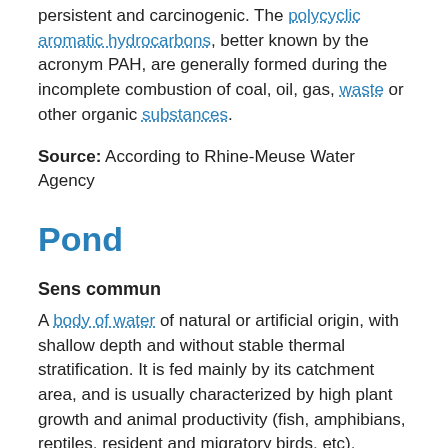persistent and carcinogenic. The polycyclic aromatic hydrocarbons, better known by the acronym PAH, are generally formed during the incomplete combustion of coal, oil, gas, waste or other organic substances.
Source: According to Rhine-Meuse Water Agency
Pond
Sens commun
A body of water of natural or artificial origin, with shallow depth and without stable thermal stratification. It is fed mainly by its catchment area, and is usually characterized by high plant growth and animal productivity (fish, amphibians, reptiles, resident and migratory birds, etc).
Source: According to AFB
Pond with brackish water
Sens commun